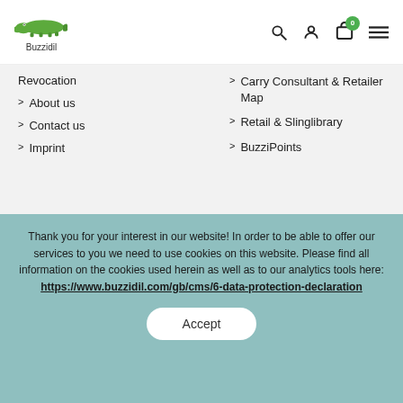[Figure (logo): Buzzidil crocodile logo with brand name text below]
Revocation
> About us
> Contact us
> Imprint
> Carry Consultant & Retailer Map
> Retail & Slinglibrary
> BuzziPoints
CONTACT US
Buzzidil GmbH
Gaudenzdorfer Gürtel 43-45/0C
Thank you for your interest in our website! In order to be able to offer our services to you we need to use cookies on this website. Please find all information on the cookies used herein as well as to our analytics tools here: https://www.buzzidil.com/gb/cms/6-data-protection-declaration
Accept